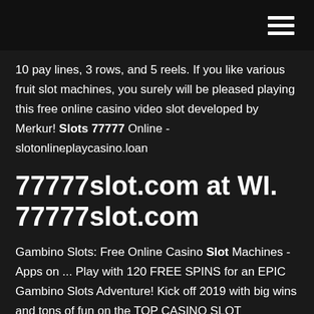10 pay lines, 3 rows, and 5 reels. If you like various fruit slot machines, you surely will be pleased playing this free online casino video slot developed by Merkur! Slots 77777 Online - slotonlineplaycasino.loan
77777slot.com at WI. 77777slot.com
Gambino Slots: Free Online Casino Slot Machines - Apps on ... Play with 120 FREE SPINS for an EPIC Gambino Slots Adventure! Kick off 2019 with big wins and tons of fun on the TOP CASINO SLOT MACHINES! Spin and win on the BEST slots at the BEST casino online for hours of fun and excitement! Unlock new games as you level and watch